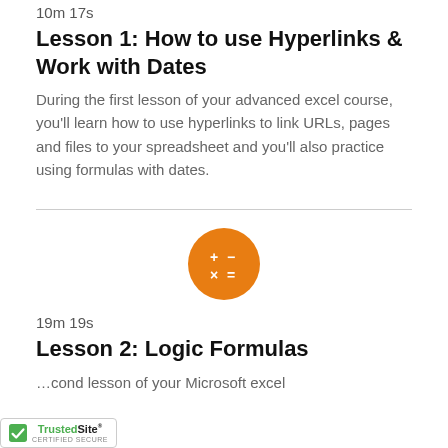10m 17s
Lesson 1: How to use Hyperlinks & Work with Dates
During the first lesson of your advanced excel course, you'll learn how to use hyperlinks to link URLs, pages and files to your spreadsheet and you'll also practice using formulas with dates.
[Figure (illustration): Orange circle icon with calculator symbols: + - x =]
19m 19s
Lesson 2: Logic Formulas
...cond lesson of your Microsoft excel
[Figure (logo): TrustedSite Certified Secure badge]